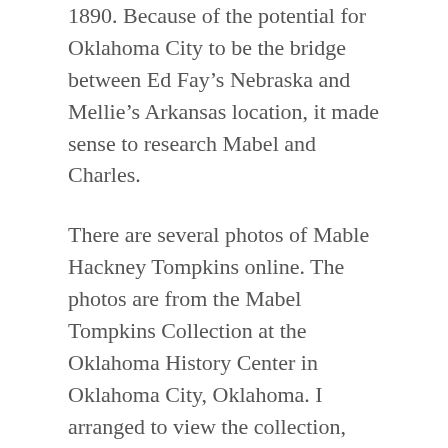1890. Because of the potential for Oklahoma City to be the bridge between Ed Fay's Nebraska and Mellie's Arkansas location, it made sense to research Mabel and Charles.
There are several photos of Mable Hackney Tompkins online. The photos are from the Mabel Tompkins Collection at the Oklahoma History Center in Oklahoma City, Oklahoma. I arranged to view the collection, giving me a view into the world of the Wild West shows of the late 19th and early 20th centuries.